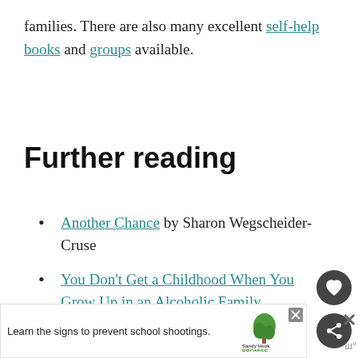families. There are also many excellent self-help books and groups available.
Further reading
Another Chance by Sharon Wegscheider-Cruse
You Don't Get a Childhood When You Grow Up in an Alcoholic Family
What Causes Codependency?
[Figure (other): Advertisement banner: Learn the signs to prevent school shootings. Sandy Hook Promise logo with green tree graphic.]